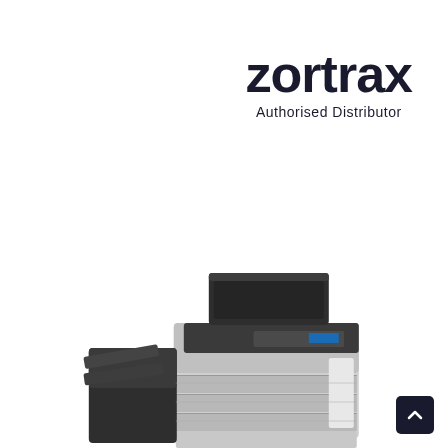[Figure (logo): Zortrax Authorised Distributor logo — bold dark text 'zortrax' with 'Authorised Distributor' below in regular weight]
[Figure (photo): Office multifunction printer/copier with finisher unit attached on the left side, shown in a product shot style against white background — partially cropped at bottom of page]
[Figure (other): Dark square back-to-top button with upward-pointing chevron arrow, positioned in bottom-right corner]